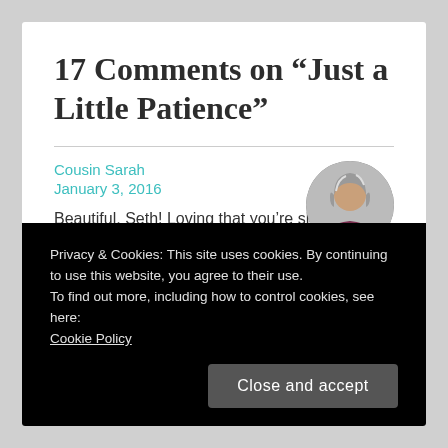17 Comments on “Just a Little Patience”
Cousin Sarah
January 3, 2016
Beautiful, Seth! Loving that you’re sharing
[Figure (photo): Circular avatar photo of a woman with gray hair]
Privacy & Cookies: This site uses cookies. By continuing to use this website, you agree to their use.
To find out more, including how to control cookies, see here:
Cookie Policy
Close and accept